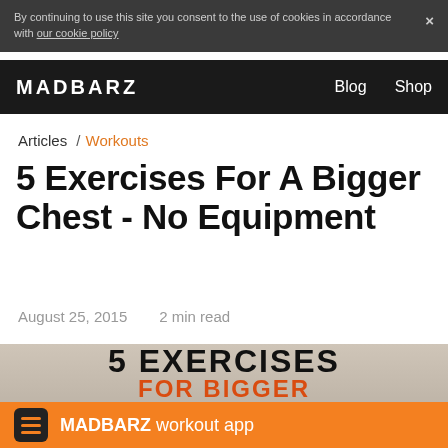By continuing to use this site you consent to the use of cookies in accordance with our cookie policy  ×
MADBARZ  Blog  Shop
Articles / Workouts
5 Exercises For A Bigger Chest - No Equipment
August 25, 2015    2 min read
[Figure (photo): Grayscale image of a muscular chest torso with overlaid bold text reading '5 EXERCISES FOR BIGGER' (partially visible)]
MADBARZ workout app